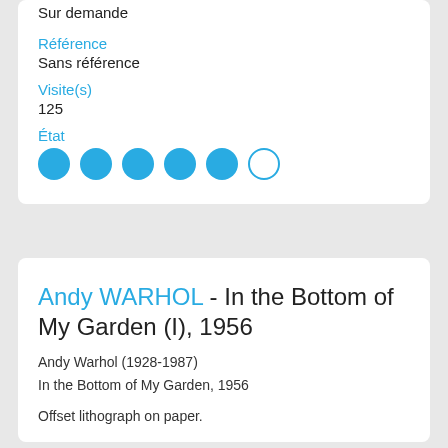Sur demande
Référence
Sans référence
Visite(s)
125
État
[Figure (infographic): Rating indicator with 5 filled blue circles and 1 empty circle]
Andy WARHOL - In the Bottom of My Garden (I), 1956
Andy Warhol (1928-1987)
In the Bottom of My Garden, 1956
Offset lithograph on paper.